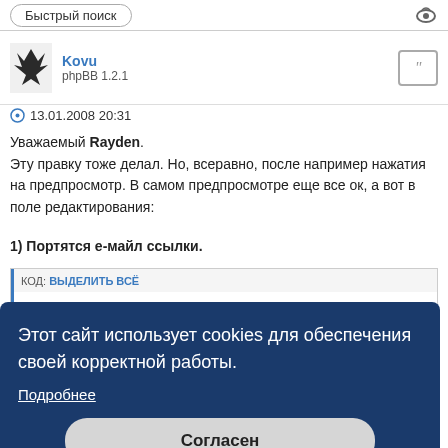Быстрый поиск
Kovu
phpBB 1.2.1
13.01.2008 20:31
Уважаемый Rayden.
Эту правку тоже делал. Но, всеравно, после например нажатия на предпросмотр. В самом предпросмотре еще все ок, а вот в поле редактирования:
1) Портятся е-майл ссылки.
КОД: ВЫДЕЛИТЬ ВСЁ
Этот сайт использует cookies для обеспечения своей корректной работы.
Подробнее
Согласен
КОД: ВЫДЕЛИТЬ ВСЕ